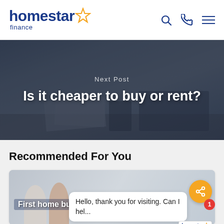[Figure (logo): Homestar Finance logo with star icon, search, phone and menu icons in header]
[Figure (photo): Hero banner with photo of couple reviewing financial documents, overlaid with text 'Next Post' and 'Is it cheaper to buy or rent?']
Recommended For You
[Figure (photo): Card showing first home buyers content with couple in background, share button, notification badge, chat bubble saying 'Hello, thank you for visiting. Can I hel...' and Homestar Finance mini logo with Privacy - Terms text]